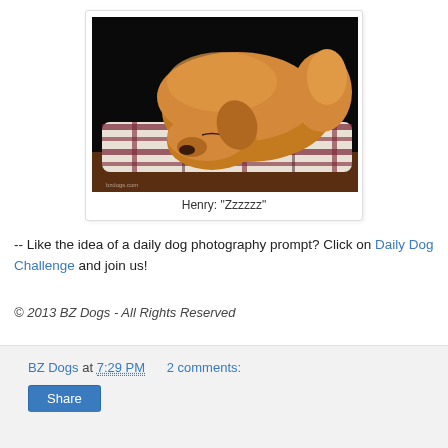[Figure (photo): A golden retriever dog sleeping/resting its head on a plaid dog bed against a dark background. Watermark 'bzdogs.com' visible in lower left corner.]
Henry: "Zzzzzz"
-- Like the idea of a daily dog photography prompt? Click on Daily Dog Challenge and join us!
© 2013 BZ Dogs - All Rights Reserved
BZ Dogs at 7:29 PM   2 comments:   Share